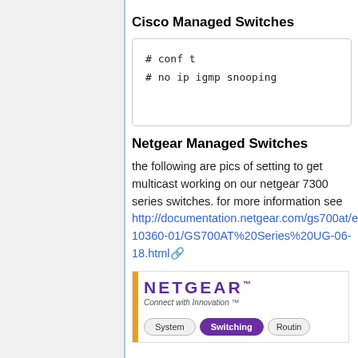Cisco Managed Switches
# conf t
# no ip igmp snooping
Netgear Managed Switches
the following are pics of setting to get multicast working on our netgear 7300 series switches. for more information see http://documentation.netgear.com/gs700at/enu/202-10360-01/GS700AT%20Series%20UG-06-18.html
[Figure (screenshot): Netgear logo with 'Connect with Innovation' tagline and navigation buttons: System, Switching (active/purple), Routing (partially visible)]